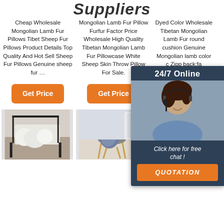Suppliers
Cheap Wholesale Mongolian Lamb Fur Pillows Tibet Sheep Fur Pillows Product Details Top Quality And Hot Sell Sheep Fur Pillows Genuine sheep fur …
Mongolian Lamb Fur Pillow Furfur Factor Price Wholesale High Quality Tibetan Mongolian Lamb Fur Pillowcase White Sheep Skin Throw Pillow For Sale.
Dyed Color Wholesale Tibetan Mongolian Lamb Fur round cushion Genuine Mongolian lamb... color c... Zipp... back:fa...
Get Price
Get Price
G...
[Figure (infographic): 24/7 Online chat widget with agent photo, 'Click here for free chat!' text and QUOTATION button on dark blue background]
[Figure (photo): White fluffy fur pillows on a table in a room setting]
[Figure (photo): Grey/blue fur throw on a chair in a modern room]
[Figure (photo): Pink heart-shaped fluffy fur pillow with TOP watermark]